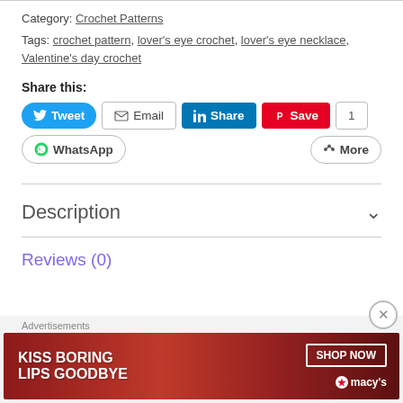Category: Crochet Patterns
Tags: crochet pattern, lover's eye crochet, lover's eye necklace, Valentine's day crochet
Share this:
[Figure (screenshot): Social share buttons: Tweet, Email, Share (LinkedIn), Save (Pinterest) with count 1, WhatsApp, More]
Description
Reviews (0)
[Figure (infographic): Macy's advertisement banner: KISS BORING LIPS GOODBYE with SHOP NOW button and macy's star logo]